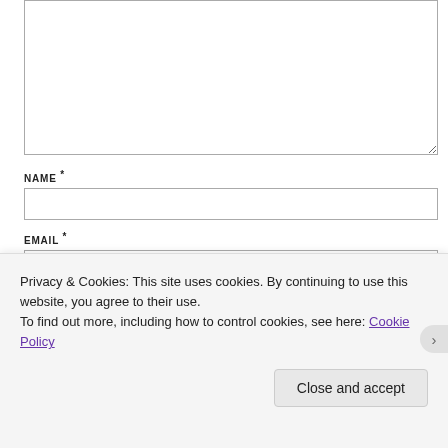[Figure (screenshot): Partially visible comment textarea form field with resize handle]
NAME *
[Figure (screenshot): Name input text field, empty]
EMAIL *
[Figure (screenshot): Email input text field, empty]
WEBSITE
[Figure (screenshot): Website input text field, empty]
[Figure (screenshot): Post Comment button, partially visible]
Privacy & Cookies: This site uses cookies. By continuing to use this website, you agree to their use.
To find out more, including how to control cookies, see here: Cookie Policy
Close and accept